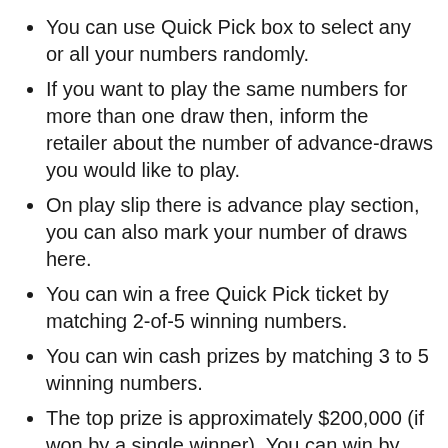You can use Quick Pick box to select any or all your numbers randomly.
If you want to play the same numbers for more than one draw then, inform the retailer about the number of advance-draws you would like to play.
On play slip there is advance play section, you can also mark your number of draws here.
You can win a free Quick Pick ticket by matching 2-of-5 winning numbers.
You can win cash prizes by matching 3 to 5 winning numbers.
The top prize is approximately $200,000 (if won by a single winner). You can win by matching 5-of-5 winning numbers.
If there is no top prize winner, the prize money is shared equally among winners